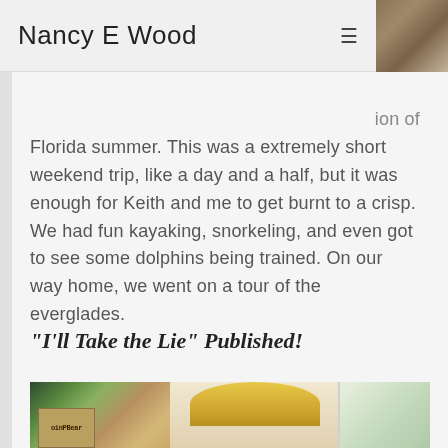Nancy E Wood
ion of Florida summer. This was a extremely short weekend trip, like a day and a half, but it was enough for Keith and me to get burnt to a crisp. We had fun kayaking, snorkeling, and even got to see some dolphins being trained. On our way home, we went on a tour of the everglades.
"I'll Take the Lie" Published!
[Figure (photo): Photo of a woman with blonde hair looking down at a desk with books and plants, next to a window with greenery outside]